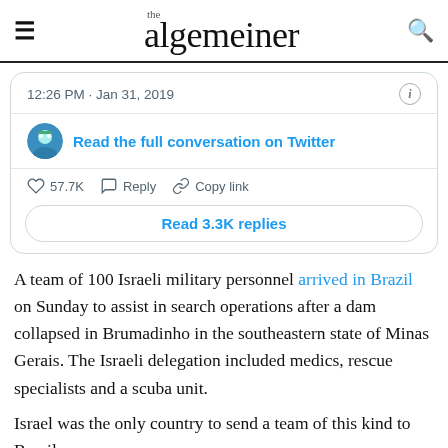the algemeiner
[Figure (screenshot): Embedded Twitter/X tweet embed showing: timestamp '12:26 PM · Jan 31, 2019', info icon, avatar, 'Read the full conversation on Twitter' link, like count 57.7K, Reply, Copy link actions, and 'Read 3.3K replies' button.]
A team of 100 Israeli military personnel arrived in Brazil on Sunday to assist in search operations after a dam collapsed in Brumadinho in the southeastern state of Minas Gerais. The Israeli delegation included medics, rescue specialists and a scuba unit.
Israel was the only country to send a team of this kind to Brazil.